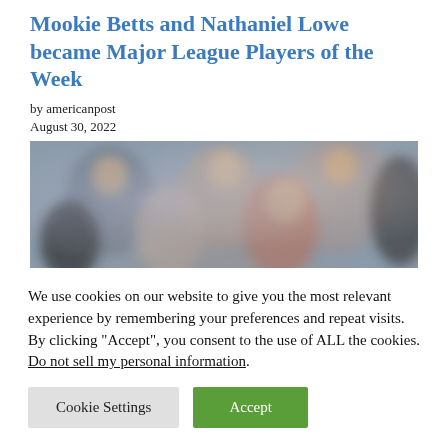Mookie Betts and Nathaniel Lowe became Major League Players of the Week
by americanpost
August 30, 2022
[Figure (photo): Blurred photograph of a crowd of people outdoors]
We use cookies on our website to give you the most relevant experience by remembering your preferences and repeat visits. By clicking “Accept”, you consent to the use of ALL the cookies. Do not sell my personal information.
Cookie Settings | Accept